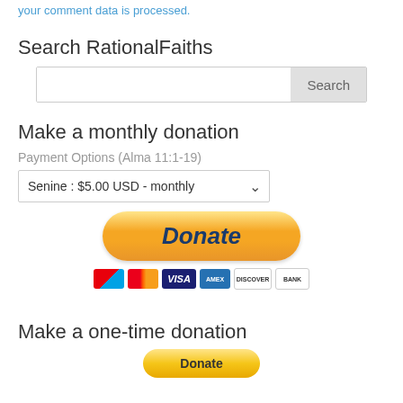your comment data is processed.
Search RationalFaiths
Search input with Search button
Make a monthly donation
Payment Options (Alma 11:1-19)
Senine : $5.00 USD - monthly (dropdown)
[Figure (other): PayPal Donate button (golden pill-shaped button with italic bold Donate text)]
[Figure (other): Payment method icons: Maestro, Mastercard, Visa, American Express, Discover, Bank]
Make a one-time donation
[Figure (other): Simple yellow Donate button]